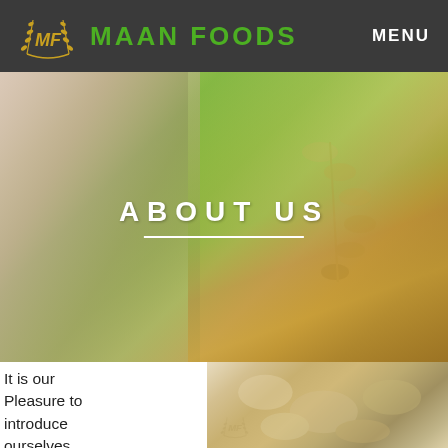MENU
[Figure (logo): Maan Foods logo with golden wheat wreath and 'MF' monogram in center, with green text MAAN FOODS]
ABOUT US
[Figure (photo): Close-up photo of hands holding rice grains with wheat stalks on green leaves background]
It is our Pleasure to introduce ourselves Maan Kubota
[Figure (photo): Close-up blurred photo of rice grains or food product, light beige/tan tones]